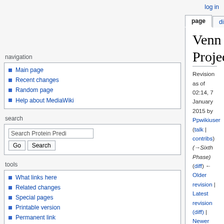log in
page | discussion | view source | history
Venn Project
Revision as of 02:14, 7 January 2015 by Ppwikiuser (talk | contribs) (→Sixth Phase)
(diff) ← Older revision | Latest revision (diff) | Newer revision → (diff)
This project is Venn diagrams visualization tool development to display list comparison for showing and visualizing gene list differences and relations. The development plans to use a JavaScript library d3js and other important tools/frameworks. It also takes into consideration various other open source Venn diagram projects as code base or experience assessments. One of this projects recommended by our mentors is the jvenn project.
navigation
Main page
Recent changes
Random page
Help about MediaWiki
search
tools
What links here
Related changes
Special pages
Printable version
| Contents |
| --- |
| 1 Features and Mockups |
| 1.1 User Experience (UXD) |
| 1.2 Visuals and Interaction |